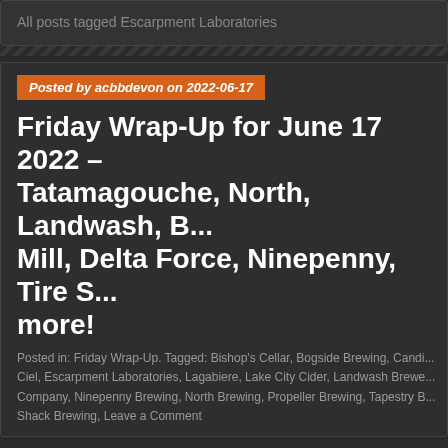All posts tagged Escarpment Laboratories
Posted by acbbdevon on 2022-06-17
Friday Wrap-Up for June 17 2022 – Tatamagouche, North, Landwash, B... Mill, Delta Force, Ninepenny, Tire S... more!
Posted in: Friday Wrap-Up. Tagged: Bishop's Cellar, Bogside Brewing, Candi... Ciel, Escarpment Laboratories, Lagabiere, Lake City Cider, Landwash Brewe... Company, Ninepenny Brewing, North Brewing, Propeller Brewing, Tapestry B... Shack Brewing, Leave a Comment
We're just over halfway through June and as we officially roll into S... Summer Solstice party, planning something special for Father's da... some cool new things to do. While it's hard for us to capture absol... Atlantic Canada, hopefully we can point you in the right direction w... to look for and help with summertime plans. Even on those rainy d...